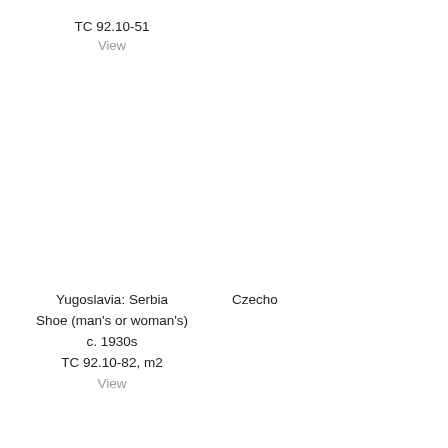TC 92.10-51
View
Yugoslavia: Serbia
Shoe (man's or woman's)
c. 1930s
TC 92.10-82, m2
View
Czecho